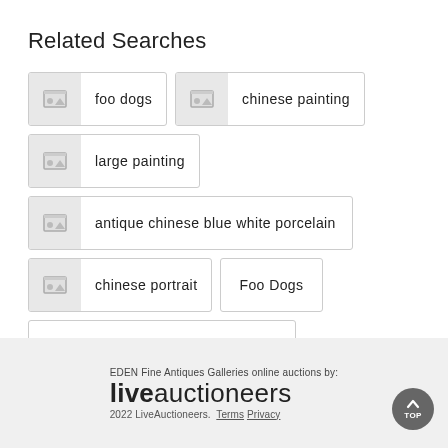Related Searches
foo dogs
chinese painting
large painting
antique chinese blue white porcelain
chinese portrait
Foo Dogs
Auctions in Atlanta
EDEN Fine Antiques Galleries online auctions by: liveauctioneers 2022 LiveAuctioneers. Terms Privacy